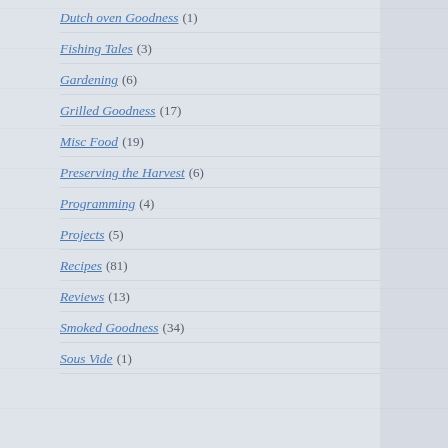Dutch oven Goodness (1)
Fishing Tales (3)
Gardening (6)
Grilled Goodness (17)
Misc Food (19)
Preserving the Harvest (6)
Programming (4)
Projects (5)
Recipes (81)
Reviews (13)
Smoked Goodness (34)
Sous Vide (1)